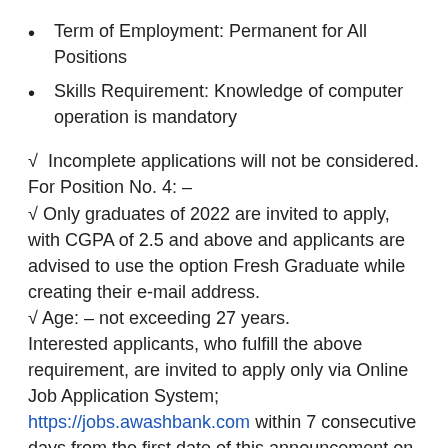Term of Employment: Permanent for All Positions
Skills Requirement: Knowledge of computer operation is mandatory
√  Incomplete applications will not be considered.
For Position No. 4: –
√ Only graduates of 2022 are invited to apply, with CGPA of 2.5 and above and applicants are advised to use the option Fresh Graduate while creating their e-mail address.
√ Age: – not exceeding 27 years.
Interested applicants, who fulfill the above requirement, are invited to apply only via Online Job Application System;
https://jobs.awashbank.com within 7 consecutive days from the first date of this announcement on